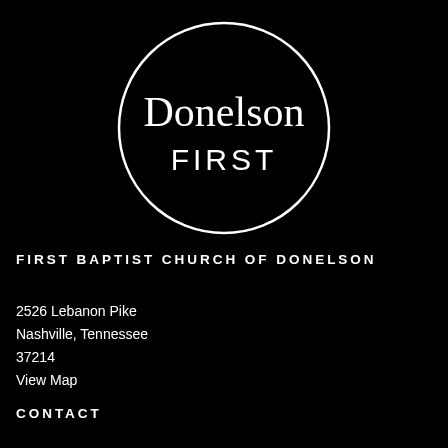[Figure (logo): Donelson First circular logo — white circle outline on black background with cursive 'Donelson' script text and 'FIRST' in caps below]
FIRST BAPTIST CHURCH OF DONELSON
2526 Lebanon Pike
Nashville, Tennessee
37214
View Map
CONTACT